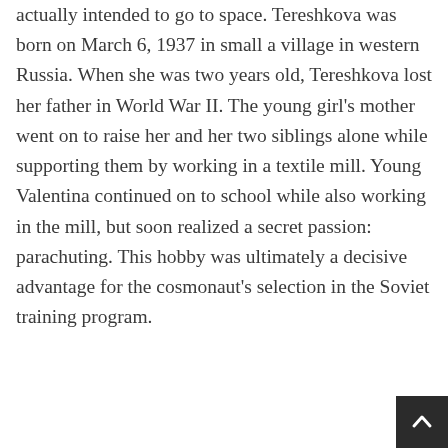actually intended to go to space. Tereshkova was born on March 6, 1937 in small a village in western Russia. When she was two years old, Tereshkova lost her father in World War II. The young girl's mother went on to raise her and her two siblings alone while supporting them by working in a textile mill. Young Valentina continued on to school while also working in the mill, but soon realized a secret passion: parachuting. This hobby was ultimately a decisive advantage for the cosmonaut's selection in the Soviet training program.